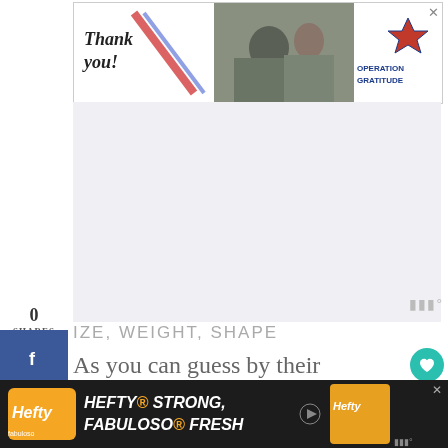[Figure (photo): Advertisement banner: 'Thank you!' text with Operation Gratitude logo and military photo]
0
SHARES
[Figure (logo): Facebook share button (blue)]
[Figure (logo): Twitter share button (light blue)]
[Figure (logo): Pinterest share button (red)]
[Figure (logo): Mediavine watermark logo]
IZE, WEIGHT, SHAPE
As you can guess by their name, Checkered Giant Rabbits are quite
[Figure (logo): Heart/like button (teal circle)]
3
[Figure (logo): Share icon button]
[Figure (screenshot): Hefty advertisement: HEFTY STRONG, FABULOSO FRESH with Hefty and Fabuloso logos on dark background]